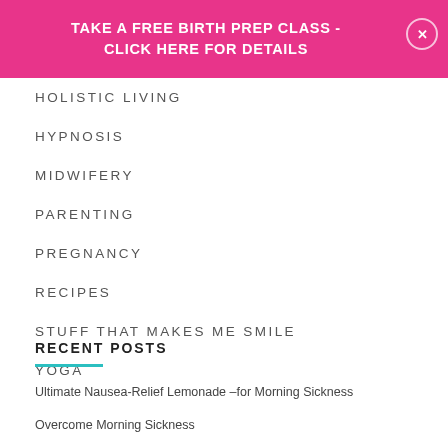TAKE A FREE BIRTH PREP CLASS - CLICK HERE FOR DETAILS
HOLISTIC LIVING
HYPNOSIS
MIDWIFERY
PARENTING
PREGNANCY
RECIPES
STUFF THAT MAKES ME SMILE
YOGA
RECENT POSTS
Ultimate Nausea-Relief Lemonade -for Morning Sickness
Overcome Morning Sickness